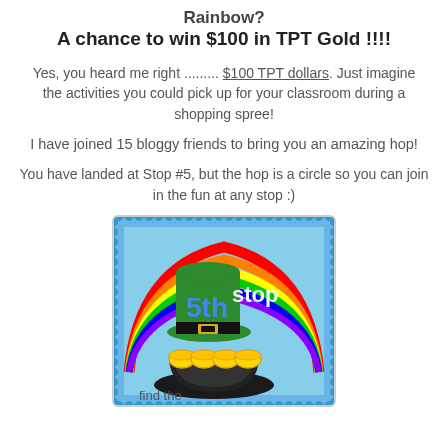Rainbow?
A chance to win $100 in TPT Gold !!!!
Yes, you heard me right ......... $100 TPT dollars. Just imagine the activities you could pick up for your classroom during a shopping spree!
I have joined 15 bloggy friends to bring you an amazing hop!
You have landed at Stop #5, but the hop is a circle so you can join in the fun at any stop :)
[Figure (illustration): Illustrated stamp-style image showing a green leprechaun hat with gold buckle, a pot of gold coins, and a rainbow in the background. Text reads '5th stop' and 'find the' at the bottom.]